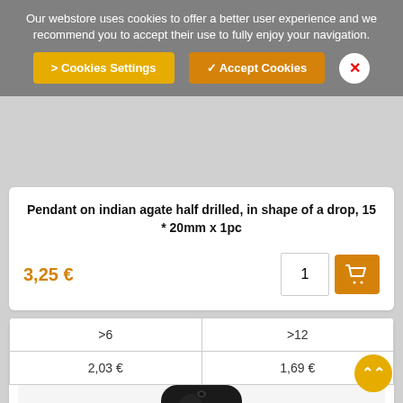Our webstore uses cookies to offer a better user experience and we recommend you to accept their use to fully enjoy your navigation.
> Cookies Settings
✓ Accept Cookies
Pendant on indian agate half drilled, in shape of a drop, 15 * 20mm x 1pc
3,25 €
| >6 | >12 |
| --- | --- |
| 2,03 € | 1,69 € |
[Figure (photo): Product image of a black drop-shaped agate pendant, partially visible at the bottom of the page]